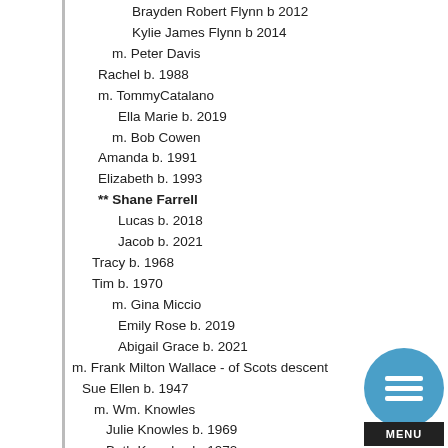Brayden Robert Flynn b 2012
Kylie James Flynn b 2014
m. Peter Davis
Rachel b. 1988
m. TommyCatalano
Ella Marie b. 2019
m. Bob Cowen
Amanda b. 1991
Elizabeth b. 1993
** Shane Farrell
Lucas b. 2018
Jacob b. 2021
Tracy b. 1968
Tim b. 1970
m. Gina Miccio
Emily Rose b. 2019
Abigail Grace b. 2021
m. Frank Milton Wallace - of Scots descent
Sue Ellen b. 1947
m. Wm. Knowles
Julie Knowles b. 1969
Beth Knowles b. 1972
m. Wm. Wyman